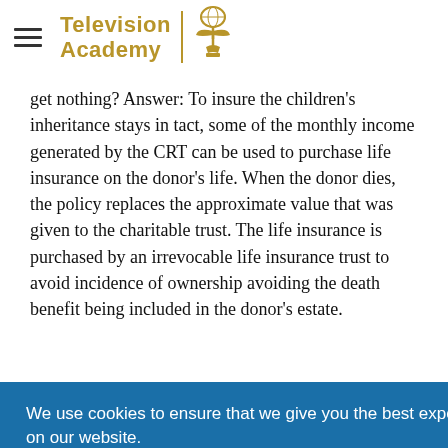Television Academy
get nothing? Answer: To insure the children's inheritance stays in tact, some of the monthly income generated by the CRT can be used to purchase life insurance on the donor's life. When the donor dies, the policy replaces the approximate value that was given to the charitable trust. The life insurance is purchased by an irrevocable life insurance trust to avoid incidence of ownership avoiding the death benefit being included in the donor's estate.
We use cookies to ensure that we give you the best experience on our website.
they would have to pay approximately $160,000 in capital